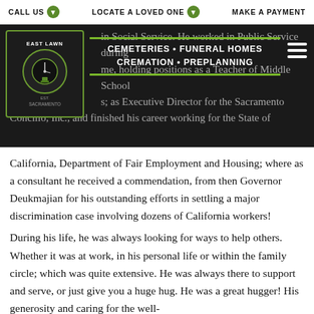CALL US   LOCATE A LOVED ONE   MAKE A PAYMENT
[Figure (logo): East Lawn Cemeteries Funeral Homes Cremation Preplanning logo with navigation overlay on dark background]
Degree in Social Service. He worked in Public Service during that time, holding positions as a Teacher of Middle School arts; as Executive Director for the Sacramento Concilio, Inc., and finished his career working for the State of California, Department of Fair Employment and Housing; where as a consultant he received a commendation, from then Governor Deukmajian for his outstanding efforts in settling a major discrimination case involving dozens of California workers!
During his life, he was always looking for ways to help others. Whether it was at work, in his personal life or within the family circle; which was quite extensive. He was always there to support and serve, or just give you a huge hug. He was a great hugger! His generosity and caring for the well-